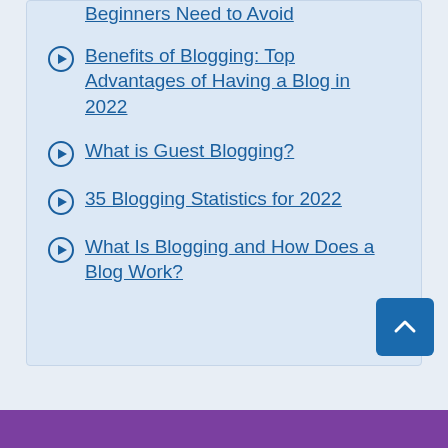Beginners Need to Avoid
Benefits of Blogging: Top Advantages of Having a Blog in 2022
What is Guest Blogging?
35 Blogging Statistics for 2022
What Is Blogging and How Does a Blog Work?